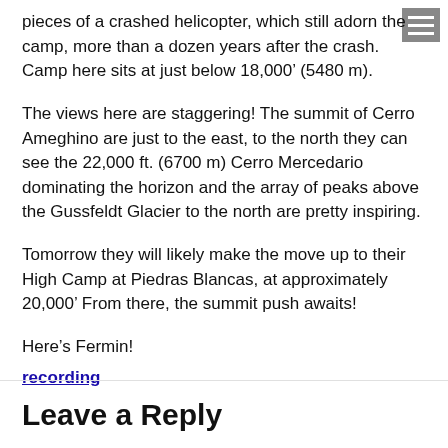pieces of a crashed helicopter, which still adorn the camp, more than a dozen years after the crash. Camp here sits at just below 18,000’ (5480 m).
The views here are staggering! The summit of Cerro Ameghino are just to the east, to the north they can see the 22,000 ft. (6700 m) Cerro Mercedario dominating the horizon and the array of peaks above the Gussfeldt Glacier to the north are pretty inspiring.
Tomorrow they will likely make the move up to their High Camp at Piedras Blancas, at approximately 20,000’ From there, the summit push awaits!
Here’s Fermin!
recording
Leave a Reply